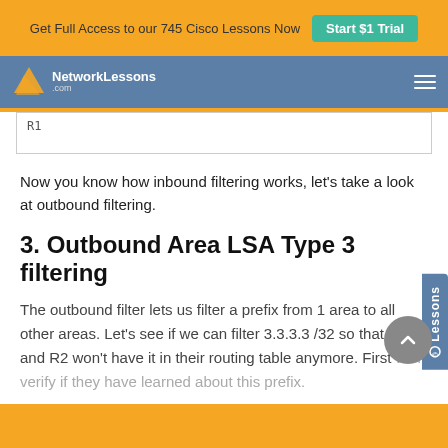Get Full Access to our 745 Cisco Lessons Now  Start $1 Trial
NetworkLessons
[Figure (screenshot): Code box showing partial text 'R1' in a white bordered box]
Now you know how inbound filtering works, let's take a look at outbound filtering.
3. Outbound Area LSA Type 3 filtering
The outbound filter lets us filter a prefix from 1 area to all other areas. Let's see if we can filter 3.3.3.3 /32 so that R1 and R2 won't have it in their routing table anymore. First we'll verify if they have learned about this prefix.